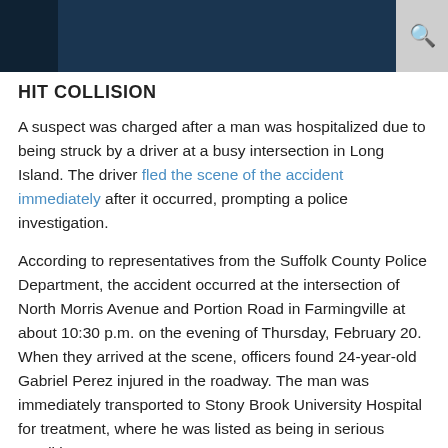HIT COLLISION
HIT COLLISION
A suspect was charged after a man was hospitalized due to being struck by a driver at a busy intersection in Long Island. The driver fled the scene of the accident immediately after it occurred, prompting a police investigation.
According to representatives from the Suffolk County Police Department, the accident occurred at the intersection of North Morris Avenue and Portion Road in Farmingville at about 10:30 p.m. on the evening of Thursday, February 20. When they arrived at the scene, officers found 24-year-old Gabriel Perez injured in the roadway. The man was immediately transported to Stony Brook University Hospital for treatment, where he was listed as being in serious condition.
The resulting investigation determined he was hit by a vehicle that fled the scene. Police carried out a search and two days later arrested 35-year-old Rene Bautista-Mendoza